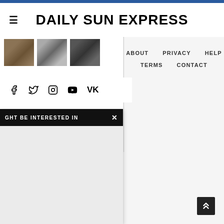DAILY SUN EXPRESS
[Figure (photo): Three small thumbnail images in a row showing blurred/dark subjects]
[Figure (infographic): Social media icons: Facebook, Twitter, Instagram, YouTube, VK]
ABOUT   PRIVACY   HELP   TERMS   CONTACT
GHT BE INTERESTED IN  X